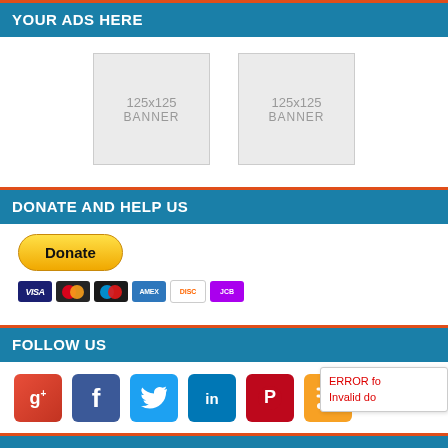YOUR ADS HERE
[Figure (other): Two placeholder banner ad boxes labeled 125x125 BANNER]
DONATE AND HELP US
[Figure (other): PayPal Donate button with credit card icons below (Visa, Mastercard, Maestro, Amex, Discover, JCB)]
FOLLOW US
[Figure (other): Social media icons: Google+, Facebook, Twitter, LinkedIn, Pinterest, RSS]
ERROR fo Invalid do